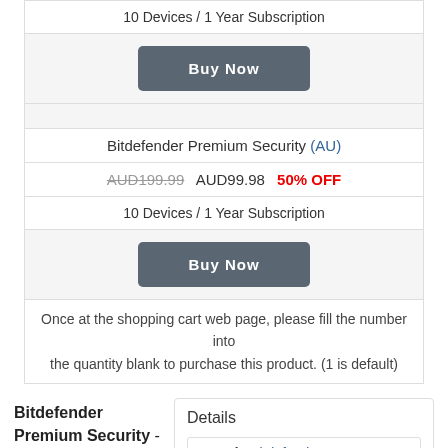10 Devices / 1 Year Subscription
Buy Now
Bitdefender Premium Security (AU)
AUD199.99  AUD99.98  50% OFF
10 Devices / 1 Year Subscription
Buy Now
Once at the shopping cart web page, please fill the number into the quantity blank to purchase this product. (1 is default)
Bitdefender Premium Security - is
Details
Brand : Bitdefender